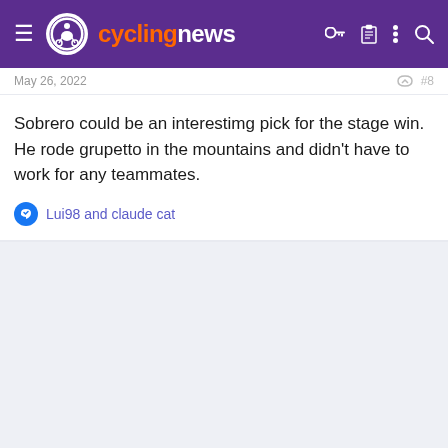cyclingnews
May 26, 2022
Sobrero could be an interestimg pick for the stage win. He rode grupetto in the mountains and didn't have to work for any teammates.
Lui98 and claude cat
[Figure (screenshot): Advertisement for Dickies Official Site - Workwear & Apparel. Shows a brown leather couch image on the left, ad text in the center, and a purple arrow button on the right. Close button (x) visible. URL: www.dickies.com]